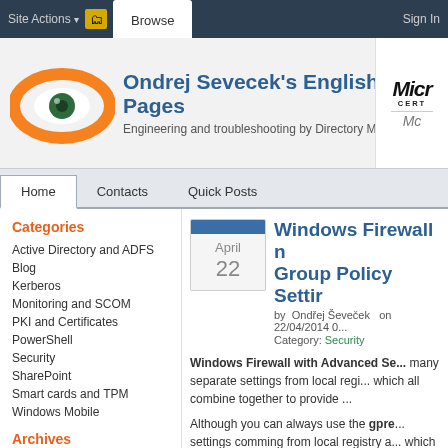Site Actions  Browse  Sign In
Ondrej Sevecek's English Pages
Engineering and troubleshooting by Directory Master!
Home   Contacts   Quick Posts
Categories
Active Directory and ADFS
Blog
Kerberos
Monitoring and SCOM
PKI and Certificates
PowerShell
Security
SharePoint
Smart cards and TPM
Windows Mobile
Archives
Windows Firewall n... Group Policy Settir...
by  Ondřej Ševeček   on 22/04/2014 0...  Category: Security
Windows Firewall with Advanced Se... many separate settings from local regi... which all combine together to provide ...
Although you can always use the gpre... settings comming from local registry a... which provides the best view of actual... else.
It also has a nice feature to display the... Monitoring – Firewall subnode, selec...